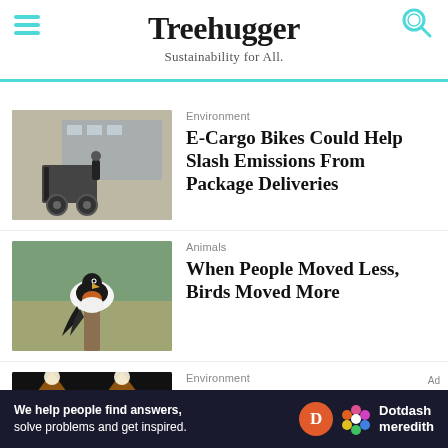Treehugger — Sustainability for All.
Environment — E-Cargo Bikes Could Help Slash Emissions From Package Deliveries
Animals — When People Moved Less, Birds Moved More
Environment — How Light Pollution May Be Harming Insects
We help people find answers, solve problems and get inspired. Dotdash meredith